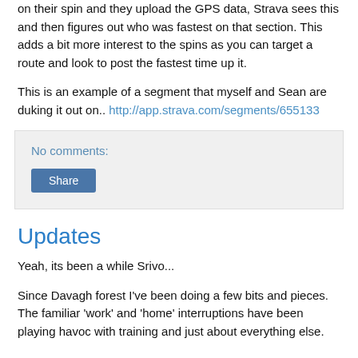The fun bit is when someone else cycles along that segment on their spin and they upload the GPS data, Strava sees this and then figures out who was fastest on that section. This adds a bit more interest to the spins as you can target a route and look to post the fastest time up it.

This is an example of a segment that myself and Sean are duking it out on.. http://app.strava.com/segments/655133
No comments:
Share
Updates
Yeah, its been a while Srivo...
Since Davagh forest I've been doing a few bits and pieces. The familiar 'work' and 'home' interruptions have been playing havoc with training and just about everything else.